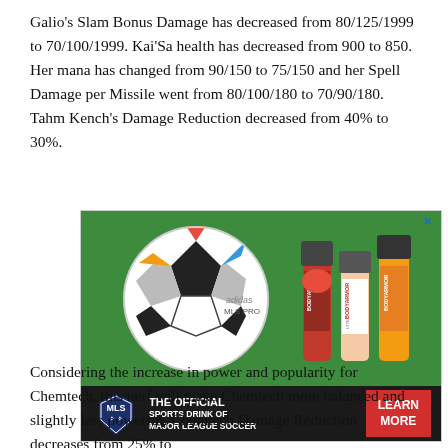Galio's Slam Bonus Damage has decreased from 80/125/1999 to 70/100/1999. Kai'Sa health has decreased from 900 to 850. Her mana has changed from 90/150 to 75/150 and her Spell Damage per Missile went from 80/100/180 to 70/90/180. Tahm Kench's Damage Reduction decreased from 40% to 30%.
[Figure (photo): Advertisement for BODYARMOR sports drink as the official sports drink of Major League Soccer. Shows three BODYARMOR bottles next to an MLS soccer ball on a grass field. Footer reads 'THE OFFICIAL SPORTS DRINK OF MAJOR LEAGUE SOCCER' with MLS logo and a red 'LEARN MORE' button.]
Considering the increase in power and popularity for Chemtech, this nerf will make Chemtech more balanced and slightly less powerful. Chemtech Damage Reduction decreases from 25% to